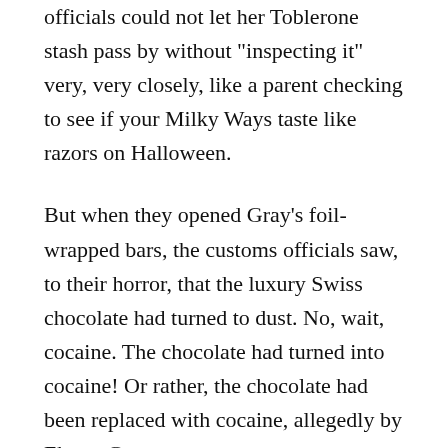officials could not let her Toblerone stash pass by without "inspecting it" very, very closely, like a parent checking to see if your Milky Ways taste like razors on Halloween.
But when they opened Gray's foil-wrapped bars, the customs officials saw, to their horror, that the luxury Swiss chocolate had turned to dust. No, wait, cocaine. The chocolate had turned into cocaine! Or rather, the chocolate had been replaced with cocaine, allegedly by Ebony Gray.
The Post writes that some of the boxes contained "foil-wrapped solid sticks of packed cocaine," while others featured "what looked like coke stuffed into other chocolate bars" (some people really have no idea what a